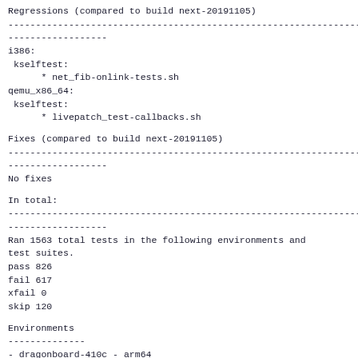Regressions (compared to build next-20191105)
------------------------------------------------------------------------
------------------
i386:
 kselftest:
      * net_fib-onlink-tests.sh
qemu_x86_64:
 kselftest:
      * livepatch_test-callbacks.sh
Fixes (compared to build next-20191105)
------------------------------------------------------------------------
------------------
No fixes
In total:
------------------------------------------------------------------------
------------------
Ran 1563 total tests in the following environments and
test suites.
pass 826
fail 617
xfail 0
skip 120
Environments
--------------
- dragonboard-410c - arm64
- hi6220-hikey - arm64